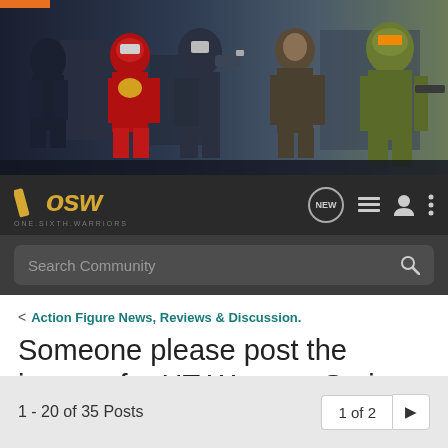[Figure (screenshot): OSW One Sixth Warriors forum website screenshot showing banner with action figures (Iron Man, War Machine, Halo Spartan, etc.), navigation bar with logo and icons, search bar, breadcrumb, post title, buttons, and pagination.]
OSW ONE.SIXTH.WARRIORS
Search Community
< Action Figure News, Reviews & Discussion.
Someone please post the images for HT Weapon Series 4!
→ Jump to Latest
+ Follow
1 - 20 of 35 Posts
1 of 2 ▶